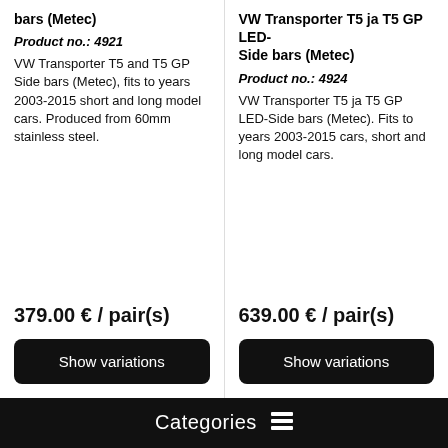bars (Metec)
VW Transporter T5 ja T5 GP LED-Side bars (Metec)
Product no.: 4921
VW Transporter T5 and T5 GP Side bars (Metec), fits to years 2003-2015 short and long model cars. Produced from 60mm stainless steel.
379.00 € / pair(s)
Show variations
Product no.: 4924
VW Transporter T5 ja T5 GP LED-Side bars (Metec). Fits to years 2003-2015 cars, short and long model cars.
639.00 € / pair(s)
Show variations
[Figure (photo): White VW Transporter T5 van showing side bars fitted underneath, photographed from the side on a cobblestone surface.]
[Figure (photo): Close-up of chrome LED side bars fitted on a dark-colored vehicle, showing the bar profile and LED strip.]
Categories